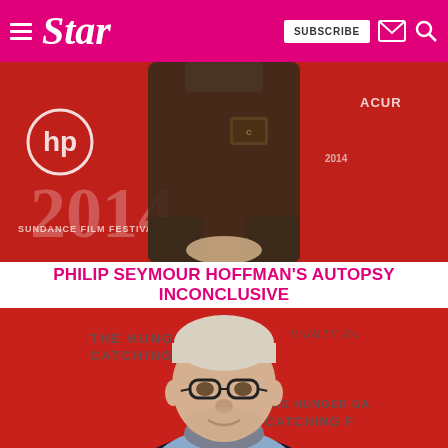Star — SUBSCRIBE
[Figure (photo): Person in brown Carhartt jacket at Sundance Film Festival 2014 red carpet with HP and Acura logos visible]
PHILIP SEYMOUR HOFFMAN'S AUTOPSY INCONCLUSIVE
[Figure (photo): Philip Seymour Hoffman smiling at The Hunger Games: Catching Fire premiere, red background with Vanity Fair logo visible]